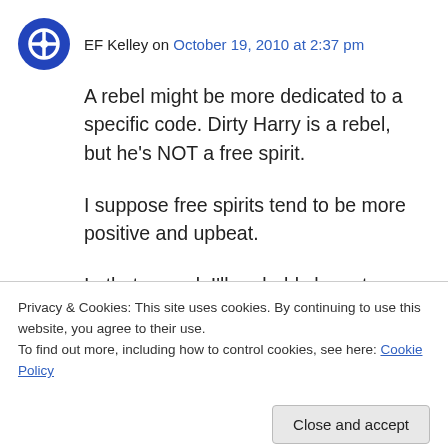EF Kelley on October 19, 2010 at 2:37 pm
A rebel might be more dedicated to a specific code. Dirty Harry is a rebel, but he's NOT a free spirit.
I suppose free spirits tend to be more positive and upbeat.
In that regard, I'll probably have to retract my
Privacy & Cookies: This site uses cookies. By continuing to use this website, you agree to their use.
To find out more, including how to control cookies, see here: Cookie Policy